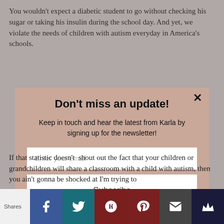You wouldn't expect a diabetic student to go without checking his sugar or taking his insulin during the school day. And yet, we violate the needs of children with autism everyday in America's schools.
[Figure (infographic): Email newsletter signup modal overlay with title 'Don't miss an update!', subtitle 'Keep in touch and hear the latest from Karla by signing up for the newsletter!', an email input field, and a Subscribe button. Powered by MailMunch.]
If that statistic doesn't  shout out the fact that your children or grandchildren will share a classroom with a child with autism, then you ain't gonna be shocked at I'm trying to
[Figure (infographic): Social share bar with Shares label, Facebook (blue), Twitter (teal), Google+ (dark red), Pinterest (dark red), Email (dark gray), and a crown/bookmark icon (navy) buttons.]